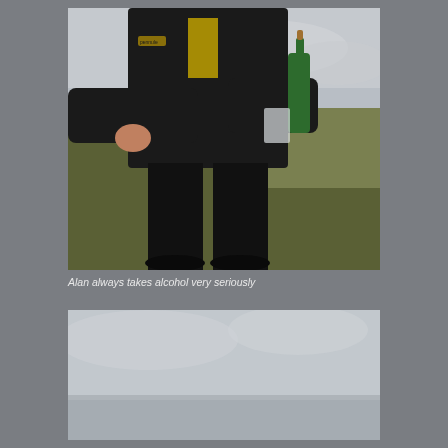[Figure (photo): A person in a dark jacket and black trousers pouring champagne from a green bottle into a plastic cup outdoors on a grassy hillside with overcast sky.]
Alan always takes alcohol very seriously
[Figure (photo): Overcast sky and misty landscape, bottom portion of a second outdoor photograph.]